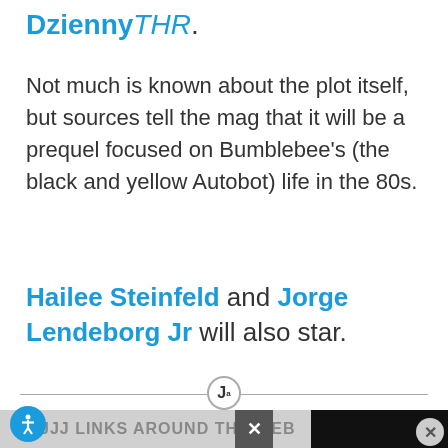Dzienny THR.
Not much is known about the plot itself, but sources tell the mag that it will be a prequel focused on Bumblebee's (the black and yellow Autobot) life in the 80s.
Hailee Steinfeld and Jorge Lendeborg Jr will also star.
[Figure (other): Divider with circular icon containing a stylized J]
JJJ LINKS AROUND THE WEB